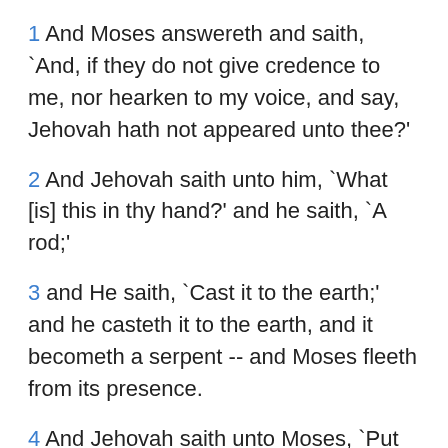1 And Moses answereth and saith, `And, if they do not give credence to me, nor hearken to my voice, and say, Jehovah hath not appeared unto thee?'
2 And Jehovah saith unto him, `What [is] this in thy hand?' and he saith, `A rod;'
3 and He saith, `Cast it to the earth;' and he casteth it to the earth, and it becometh a serpent -- and Moses fleeth from its presence.
4 And Jehovah saith unto Moses, `Put forth thy hand, and lay hold on the tail of it;' and he putteth forth his hand, and layeth hold on